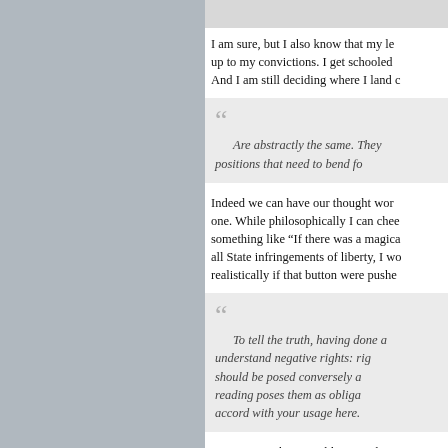I am sure, but I also know that my le up to my convictions. I get schooled  And I am still deciding where I land c
Are abstractly the same. They positions that need to bend fo
Indeed we can have our thought wor one. While philosophically I can chee something like “If there was a magica all State infringements of liberty, I wo realistically if that button were pushe
To tell the truth, having done a understand negative rights: rig should be posed conversely a reading poses them as obliga accord with your usage here.
A positive right is an obligation that s something. Libertarians generally de to under contract, or under principles There are no natural positive rights.